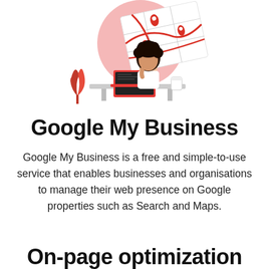[Figure (illustration): Illustration of a person with curly hair sitting at a desk with a laptop, with a large red map with location pins in the background, and red decorative plant elements on the left. Pink circular background behind the map.]
Google My Business
Google My Business is a free and simple-to-use service that enables businesses and organisations to manage their web presence on Google properties such as Search and Maps.
On-page optimization